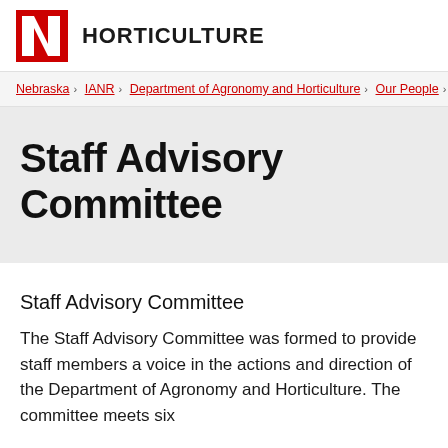HORTICULTURE
Nebraska › IANR › Department of Agronomy and Horticulture › Our People › E
Staff Advisory Committee
Staff Advisory Committee
The Staff Advisory Committee was formed to provide staff members a voice in the actions and direction of the Department of Agronomy and Horticulture. The committee meets six